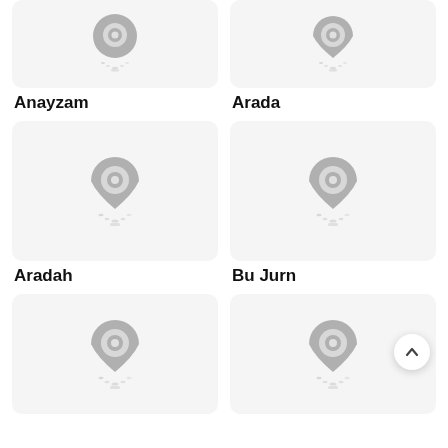[Figure (illustration): Map pin placeholder icon on light gray card background — Anayzam]
[Figure (illustration): Map pin placeholder icon on light gray card background — Arada]
Anayzam
Arada
[Figure (illustration): Map pin placeholder icon on light gray card background — Aradah]
[Figure (illustration): Map pin placeholder icon on light gray card background — Bu Jurn]
Aradah
Bu Jurn
[Figure (illustration): Map pin placeholder icon on light gray card background — row 3 left]
[Figure (illustration): Map pin placeholder icon on light gray card background — row 3 right]